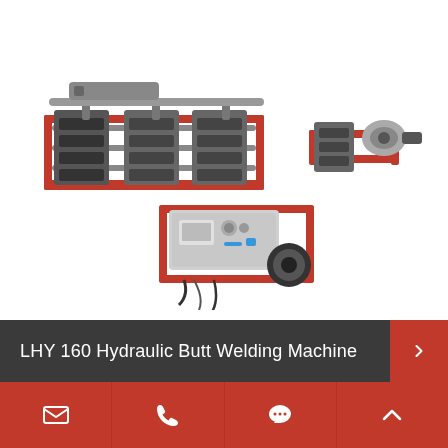[Figure (photo): LHY 160 Hydraulic Butt Welding Machine product photo showing the red and grey machine assembly with pipe clamps, heating element, and hydraulic power unit]
LHY 160 Hydraulic Butt Welding Machine
Email | Phone | Chat | Up